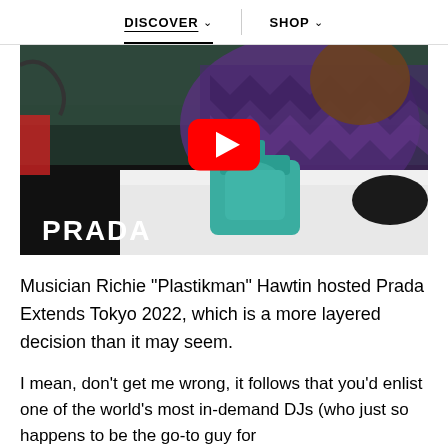DISCOVER ∨   SHOP ∨
[Figure (screenshot): Prada fashion video thumbnail showing a model in purple knit top with teal Prada handbag on white bed, with YouTube play button overlay and PRADA logo at bottom left]
Musician Richie "Plastikman" Hawtin hosted Prada Extends Tokyo 2022, which is a more layered decision than it may seem.
I mean, don't get me wrong, it follows that you'd enlist one of the world's most in-demand DJs (who just so happens to be the go-to guy for